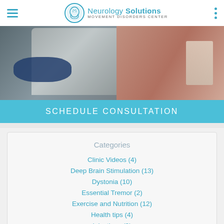Neurology Solutions MOVEMENT DISORDERS CENTER
[Figure (photo): Blurred photo of a doctor or medical professional with a patient, showing a gray-sleeved arm and blue clothing]
SCHEDULE CONSULTATION
Categories
Clinic Videos (4)
Deep Brain Stimulation (13)
Dystonia (10)
Essential Tremor (2)
Exercise and Nutrition (12)
Health tips (4)
Injections (3)
Movement Disorders (5)
Parkinson's Disease (37)